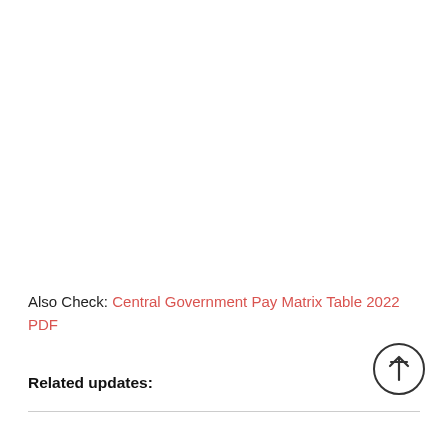Also Check: Central Government Pay Matrix Table 2022 PDF
Related updates: